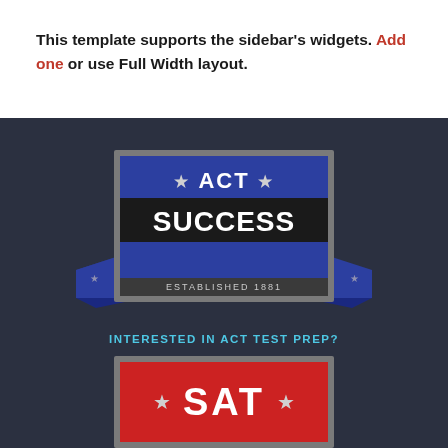This template supports the sidebar's widgets. Add one or use Full Width layout.
[Figure (logo): ACT Success badge logo with blue and dark background, stars, ribbon wings, and text reading ACT SUCCESS ESTABLISHED 1981, with subtitle INTERESTED IN ACT TEST PREP?]
[Figure (logo): SAT badge logo with gray border and red background showing SAT text with stars on each side, partially visible at bottom of page]